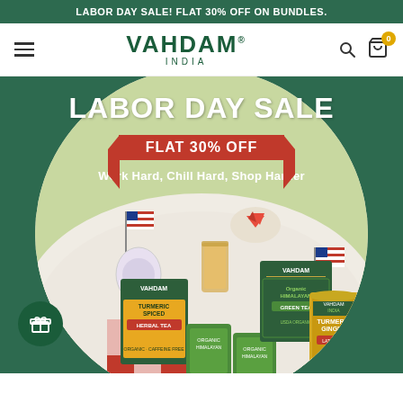LABOR DAY SALE! FLAT 30% OFF ON BUNDLES.
[Figure (logo): VAHDAM INDIA brand logo with hamburger menu, search icon, and cart icon with 0 badge]
LABOR DAY SALE
FLAT 30% OFF
Work Hard, Chill Hard, Shop Harder
[Figure (photo): Circular cropped photo of Vahdam India tea products including Turmeric Spiced Herbal Tea, Organic Himalayan Green Tea box, Turmeric Ginger tea tin, arranged on a picnic table with blueberries, American flags, watermelon slices, and a glass of iced tea in the background on green grass]